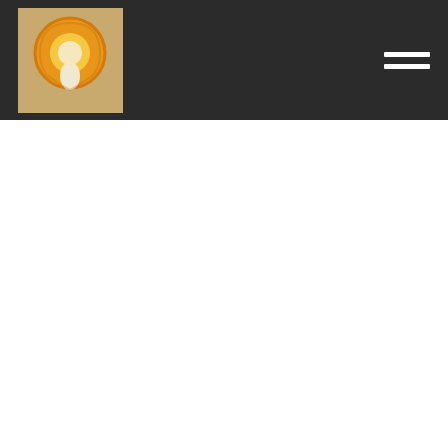Navigation header with logo and hamburger menu
[Figure (logo): Circular orange and yellow logo with a teardrop/bulb shape on a warm beige background, displayed in the top-left of a dark header bar]
[Figure (other): Hamburger menu icon (three white horizontal lines) in the top-right of the dark header bar]